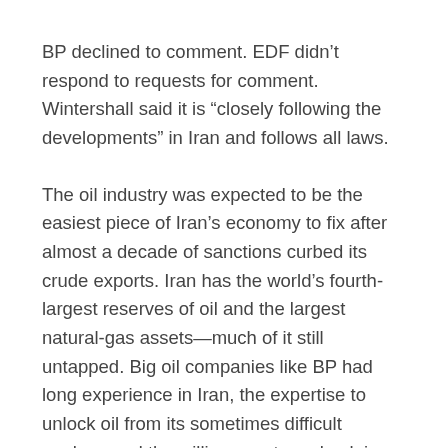BP declined to comment. EDF didn't respond to requests for comment. Wintershall said it is “closely following the developments” in Iran and follows all laws.
The oil industry was expected to be the easiest piece of Iran’s economy to fix after almost a decade of sanctions curbed its crude exports. Iran has the world’s fourth-largest reserves of oil and the largest natural-gas assets—much of it still untapped. Big oil companies like BP had long experience in Iran, the expertise to unlock oil from its sometimes difficult geology and the willingness to go back in under the right terms.